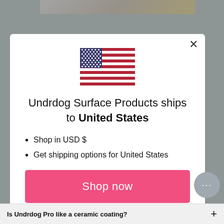[Figure (screenshot): Modal popup dialog on an e-commerce website showing a US flag, shipping destination notice, and shop now button]
Undrdog Surface Products ships to United States
Shop in USD $
Get shipping options for United States
Shop now
Change shipping country
Is Undrdog Pro like a ceramic coating?